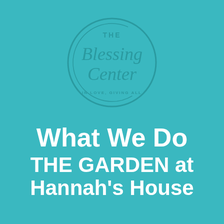[Figure (logo): The Blessing Center circular logo with script text 'Blessing Center' and tagline 'IN LOVE, GIVING ALL', rendered in dark teal on teal background]
What We Do
THE GARDEN at Hannah's House